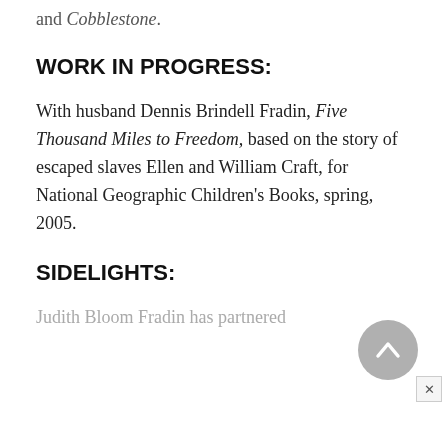and Cobblestone.
WORK IN PROGRESS:
With husband Dennis Brindell Fradin, Five Thousand Miles to Freedom, based on the story of escaped slaves Ellen and William Craft, for National Geographic Children's Books, spring, 2005.
SIDELIGHTS:
Judith Bloom Fradin has partnered